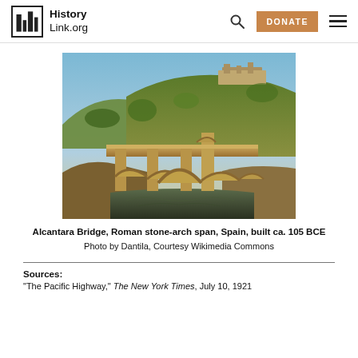HistoryLink.org
[Figure (photo): Photograph of the Alcantara Bridge, a Roman stone-arch bridge in Spain, with golden stone arches spanning a river gorge, green hills and a fortification in the background under a blue sky.]
Alcantara Bridge, Roman stone-arch span, Spain, built ca. 105 BCE
Photo by Dantila, Courtesy Wikimedia Commons
Sources:
"The Pacific Highway," The New York Times, July 10, 1921